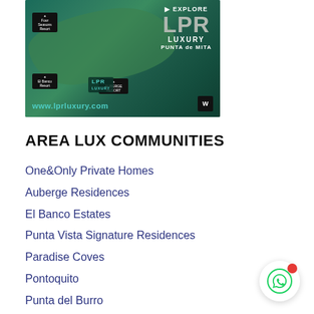[Figure (map): Aerial/satellite style map of Punta de Mita peninsula showing luxury resort communities. Text reads: EXPLORE LPR LUXURY PUNTA de MITA. URL shown: www.lprluxury.com. Various resort badges including W hotel badge shown.]
AREA LUX COMMUNITIES
One&Only Private Homes
Auberge Residences
El Banco Estates
Punta Vista Signature Residences
Paradise Coves
Pontoquito
Punta del Burro
El Farallon